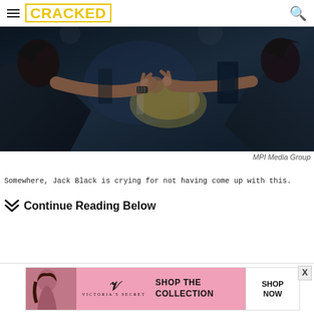CRACKED
[Figure (photo): Two people making rock hand gestures (devil horns) facing each other in a dark concert/band setting with drums in background]
MPI Media Group
Somewhere, Jack Black is crying for not having come up with this.
Continue Reading Below
[Figure (photo): Victoria's Secret advertisement banner — SHOP THE COLLECTION — SHOP NOW]